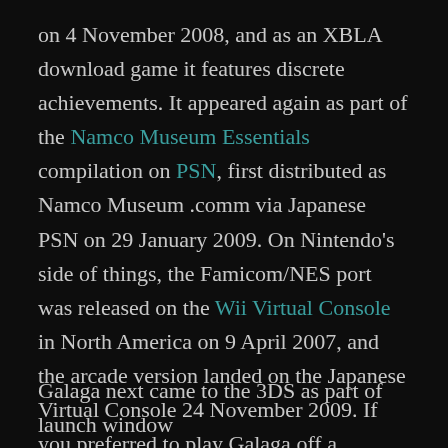on 4 November 2008, and as an XBLA download game it features discrete achievements. It appeared again as part of the Namco Museum Essentials compilation on PSN, first distributed as Namco Museum .comm via Japanese PSN on 29 January 2009. On Nintendo's side of things, the Famicom/NES port was released on the Wii Virtual Console in North America on 9 April 2007, and the arcade version landed on the Japanese Virtual Console 24 November 2009. If you preferred to play Galaga off a physical disc on Wii hardware, you were limited to the North American exclusive release of Namco Museum Megamix in 2010.
Galaga next came to the 3DS as part of launch window